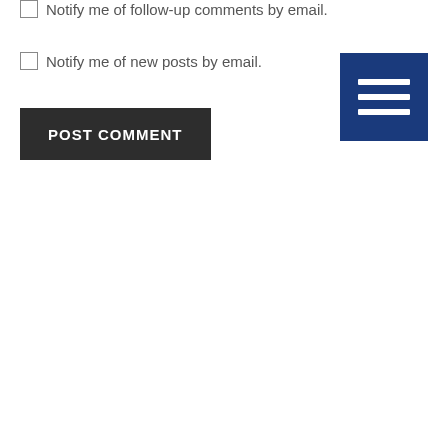Notify me of follow-up comments by email.
Notify me of new posts by email.
POST COMMENT
[Figure (other): Dark blue square button with three horizontal white lines (hamburger/menu icon)]